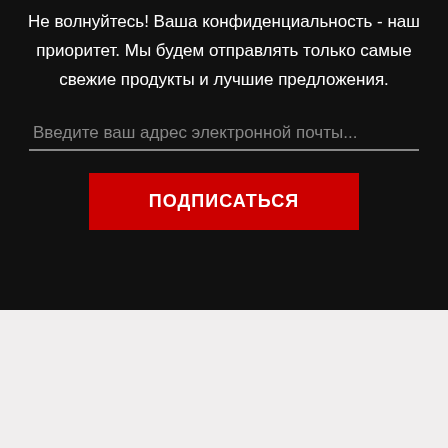Не волнуйтесь! Ваша конфиденциальность - наш приоритет. Мы будем отправлять только самые свежие продукты и лучшие предложения.
Введите ваш адрес электронной почты...
ПОДПИСАТЬСЯ